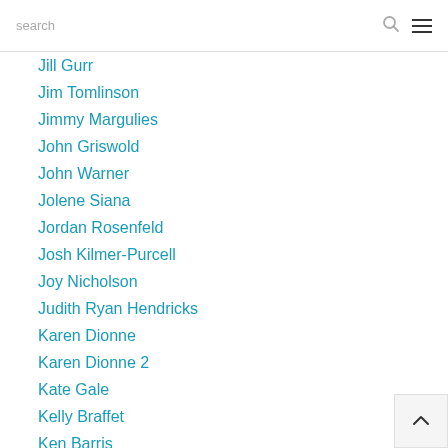search
Jill Gurr
Jim Tomlinson
Jimmy Margulies
John Griswold
John Warner
Jolene Siana
Jordan Rosenfeld
Josh Kilmer-Purcell
Joy Nicholson
Judith Ryan Hendricks
Karen Dionne
Karen Dionne 2
Kate Gale
Kelly Braffet
Ken Barris
Kevin Dolgin
Kevin Sampsell